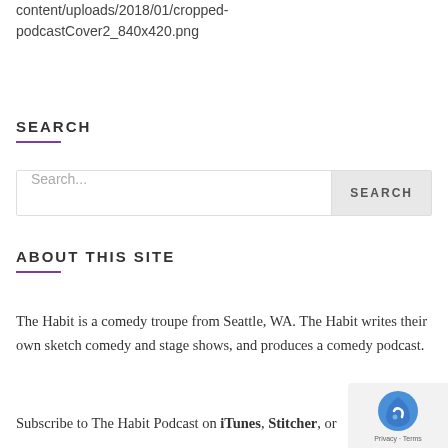content/uploads/2018/01/cropped-podcastCover2_840x420.png
SEARCH
[Figure (screenshot): Search input box with placeholder text 'Search...' and a SEARCH button on the right]
ABOUT THIS SITE
The Habit is a comedy troupe from Seattle, WA. The Habit writes their own sketch comedy and stage shows, and produces a comedy podcast.
Subscribe to The Habit Podcast on iTunes, Stitcher, or